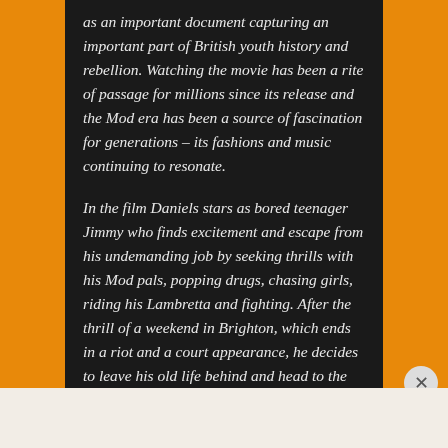as an important document capturing an important part of British youth history and rebellion. Watching the movie has been a rite of passage for millions since its release and the Mod era has been a source of fascination for generations – its fashions and music continuing to resonate.
In the film Daniels stars as bored teenager Jimmy who finds excitement and escape from his undemanding job by seeking thrills with his Mod pals, popping drugs, chasing girls, riding his Lambretta and fighting. After the thrill of a weekend in Brighton, which ends in a riot and a court appearance, he decides to leave his old life behind and head to the coast but finds the reality a harsh let down.
Advertisements
Professionally designed sites in less than a week